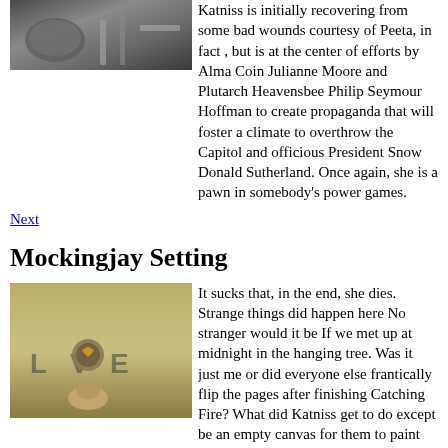[Figure (photo): Close-up photo of bowl and tools on dark surface]
Katniss is initially recovering from some bad wounds courtesy of Peeta, in fact , but is at the center of efforts by Alma Coin Julianne Moore and Plutarch Heavensbee Philip Seymour Hoffman to create propaganda that will foster a climate to overthrow the Capitol and officious President Snow Donald Sutherland. Once again, she is a pawn in somebody's power games.
Next
Mockingjay Setting
[Figure (photo): Photo of a hand holding a Mockingjay pin with LOVE letters in background]
It sucks that, in the end, she dies. Strange things did happen here No stranger would it be If we met up at midnight in the hanging tree. Was it just me or did everyone else frantically flip the pages after finishing Catching Fire? What did Katniss get to do except be an empty canvas for them to paint and feed lines to? Can anyone honestly say she used her brain and was utterly brilliant in this one? Not that we shouldn't fight, but that we know what's worth fighting for. You just have to pay attention. There was no